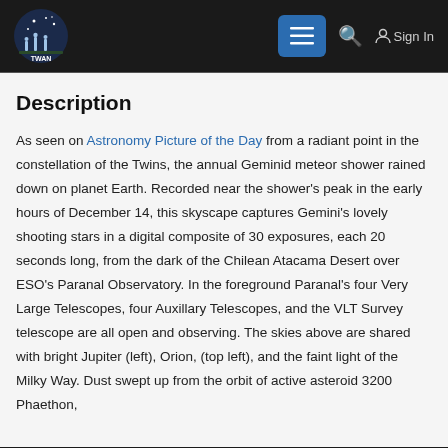TWAN — Navigation bar with logo, menu button, search icon, Sign In
Description
As seen on Astronomy Picture of the Day from a radiant point in the constellation of the Twins, the annual Geminid meteor shower rained down on planet Earth. Recorded near the shower's peak in the early hours of December 14, this skyscape captures Gemini's lovely shooting stars in a digital composite of 30 exposures, each 20 seconds long, from the dark of the Chilean Atacama Desert over ESO's Paranal Observatory. In the foreground Paranal's four Very Large Telescopes, four Auxillary Telescopes, and the VLT Survey telescope are all open and observing. The skies above are shared with bright Jupiter (left), Orion, (top left), and the faint light of the Milky Way. Dust swept up from the orbit of active asteroid 3200 Phaethon,